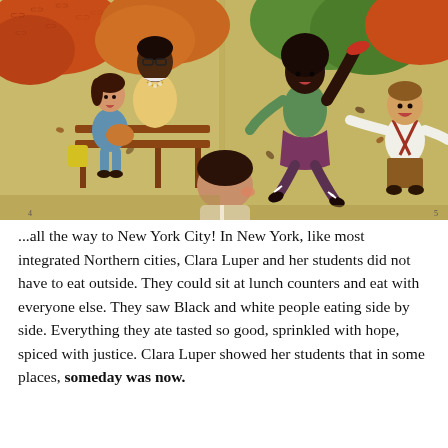[Figure (illustration): Children's book illustration showing a park scene with diverse children and adults. On the left page: a dark-skinned woman with glasses in a yellow cardigan sits on a bench with a light-skinned girl in a blue dress holding a brown bag, among autumn trees with orange and yellow leaves. On the right page: a dark-skinned girl in a green sweater and purple skirt throws leaves in the air, while a light-skinned boy in suspenders watches, with colorful autumn foliage in the background. In the center foreground, a child is seen from behind.]
...all the way to New York City! In New York, like most integrated Northern cities, Clara Luper and her students did not have to eat outside. They could sit at lunch counters and eat with everyone else. They saw Black and white people eating side by side. Everything they ate tasted so good, sprinkled with hope, spiced with justice. Clara Luper showed her students that in some places, someday was now.